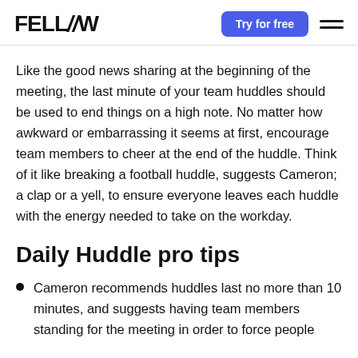FELLOW — Try for free
Like the good news sharing at the beginning of the meeting, the last minute of your team huddles should be used to end things on a high note. No matter how awkward or embarrassing it seems at first, encourage team members to cheer at the end of the huddle. Think of it like breaking a football huddle, suggests Cameron; a clap or a yell, to ensure everyone leaves each huddle with the energy needed to take on the workday.
Daily Huddle pro tips
Cameron recommends huddles last no more than 10 minutes, and suggests having team members standing for the meeting in order to force people